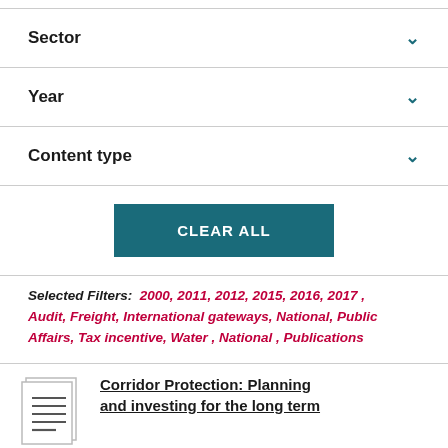Sector
Year
Content type
CLEAR ALL
Selected Filters: 2000, 2011, 2012, 2015, 2016, 2017 , Audit, Freight, International gateways, National, Public Affairs, Tax incentive, Water , National , Publications
Corridor Protection: Planning and investing for the long term